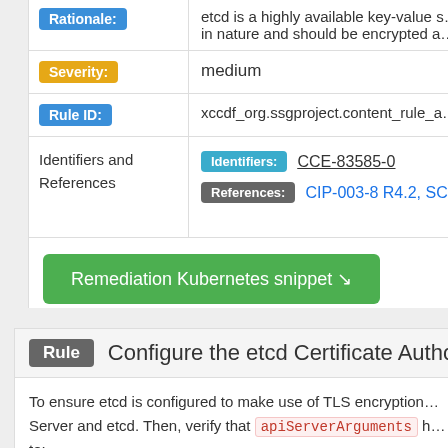| Field | Value |
| --- | --- |
| Rationale: | etcd is a highly available key-value s... in nature and should be encrypted a... |
| Severity: | medium |
| Rule ID: | xccdf_org.ssgproject.content_rule_a... |
| Identifiers and References | Identifiers: CCE-83585-0
References: CIP-003-8 R4.2, SC-28... |
Remediation Kubernetes snippet ↘
Rule  Configure the etcd Certificate Authority
To ensure etcd is configured to make use of TLS encryption... Server and etcd. Then, verify that apiServerArguments h... to:
"apiServerArguments": {